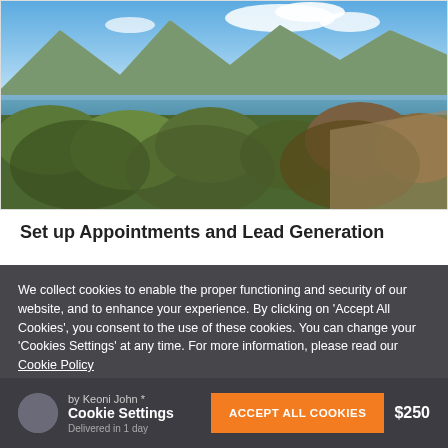[Figure (photo): Landscape photograph of a mountain lake scene with snow-capped mountains in the background, blue sky with clouds, a lake in the middle distance, and green-brown native bush/shrubs in the foreground]
Set up Appointments and Lead Generation
We collect cookies to enable the proper functioning and security of our website, and to enhance your experience. By clicking on 'Accept All Cookies', you consent to the use of these cookies. You can change your 'Cookies Settings' at any time. For more information, please read our Cookie Policy
by Keoni John *
Cookie Settings
ACCEPT ALL COOKIES
$250
Delivered in 1 day